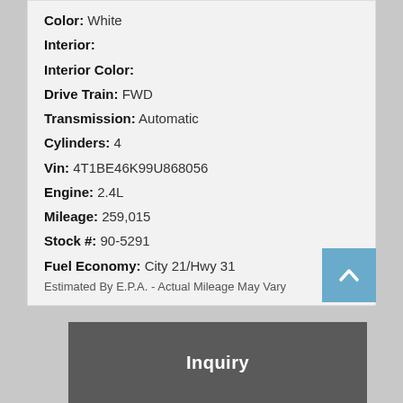Color: White
Interior:
Interior Color:
Drive Train: FWD
Transmission: Automatic
Cylinders: 4
Vin: 4T1BE46K99U868056
Engine: 2.4L
Mileage: 259,015
Stock #: 90-5291
Fuel Economy: City 21/Hwy 31
Estimated By E.P.A. - Actual Mileage May Vary